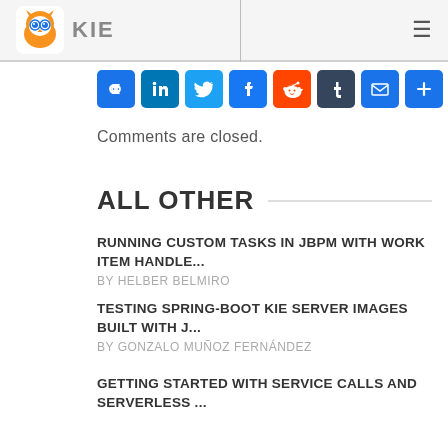KIE
[Figure (other): Social sharing icons row: link, LinkedIn, Twitter, Facebook, Reddit, Tumblr, Email, Plus]
Comments are closed.
ALL OTHER
RUNNING CUSTOM TASKS IN JBPM WITH WORK ITEM HANDLE...
BY HELBER BELMIRO
TESTING SPRING-BOOT KIE SERVER IMAGES BUILT WITH J...
BY GONZALO MUÑOZ FERNÁNDEZ
GETTING STARTED WITH SERVICE CALLS AND SERVERLESS ...